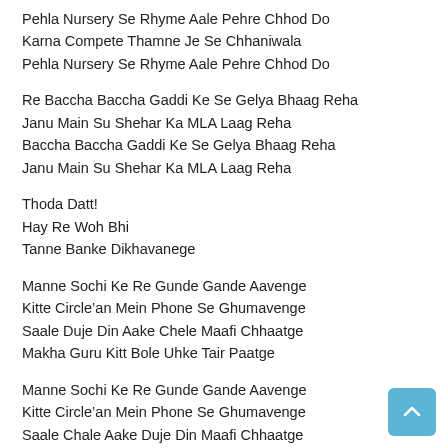Pehla Nursery Se Rhyme Aale Pehre Chhod Do
Karna Compete Thamne Je Se Chhaniwala
Pehla Nursery Se Rhyme Aale Pehre Chhod Do
Re Baccha Baccha Gaddi Ke Se Gelya Bhaag Reha
Janu Main Su Shehar Ka MLA Laag Reha
Baccha Baccha Gaddi Ke Se Gelya Bhaag Reha
Janu Main Su Shehar Ka MLA Laag Reha
Thoda Datt!
Hay Re Woh Bhi
Tanne Banke Dikhavanege
Manne Sochi Ke Re Gunde Gande Aavenge
Kitte Circle’an Mein Phone Se Ghumavenge
Saale Duje Din Aake Chele Maafi Chhaatge
Makha Guru Kitt Bole Uhke Tair Paatge
Manne Sochi Ke Re Gunde Gande Aavenge
Kitte Circle’an Mein Phone Se Ghumavenge
Saale Chale Aake Duje Din Maafi Chhaatge